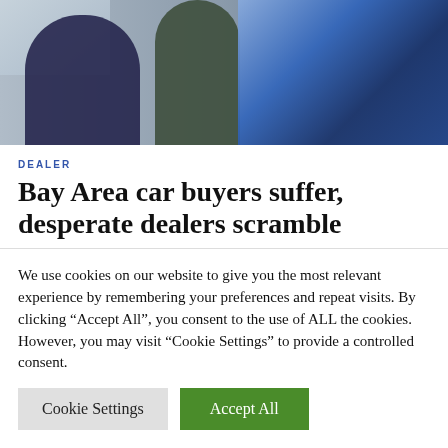[Figure (photo): Two people standing near cars at a car dealership, with a blue car on the right and a white car on the left.]
DEALER
Bay Area car buyers suffer, desperate dealers scramble
We use cookies on our website to give you the most relevant experience by remembering your preferences and repeat visits. By clicking "Accept All", you consent to the use of ALL the cookies. However, you may visit "Cookie Settings" to provide a controlled consent.
Cookie Settings | Accept All